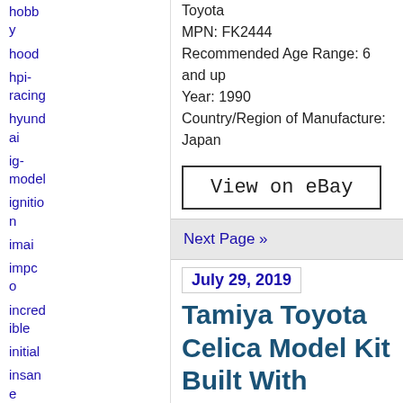hobby
hood
hpi-racing
hyundai
ig-model
ignition
imai
impco
incredible
initial
insane
installation
install
Toyota
MPN: FK2444
Recommended Age Range: 6 and up
Year: 1990
Country/Region of Manufacture: Japan
View on eBay
Next Page »
July 29, 2019
Tamiya Toyota Celica Model Kit Built With Custom Veilside Body Kit
admin
[Figure (photo): Dark image preview of a car model kit]